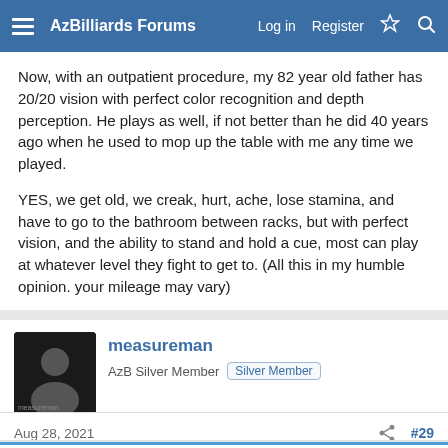AzBilliards Forums — Log in  Register
Now, with an outpatient procedure, my 82 year old father has 20/20 vision with perfect color recognition and depth perception. He plays as well, if not better than he did 40 years ago when he used to mop up the table with me any time we played.
YES, we get old, we creak, hurt, ache, lose stamina, and have to go to the bathroom between racks, but with perfect vision, and the ability to stand and hold a cue, most can play at whatever level they fight to get to. (All this in my humble opinion. your mileage may vary)
fastone371 and whiteoak
measureman
AzB Silver Member  Silver Member
Aug 28, 2021  #29